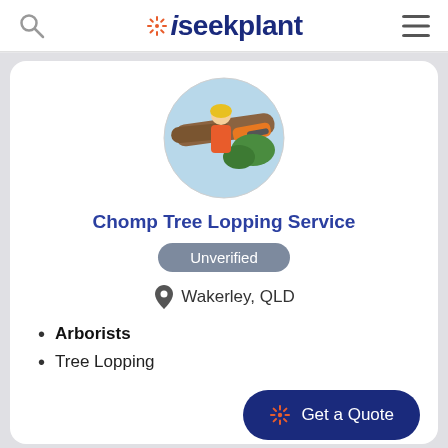iseekplant
[Figure (photo): Circular profile image showing a worker with a chainsaw cutting a large tree branch against a blue sky background.]
Chomp Tree Lopping Service
Unverified
Wakerley, QLD
Arborists
Tree Lopping
Get a Quote